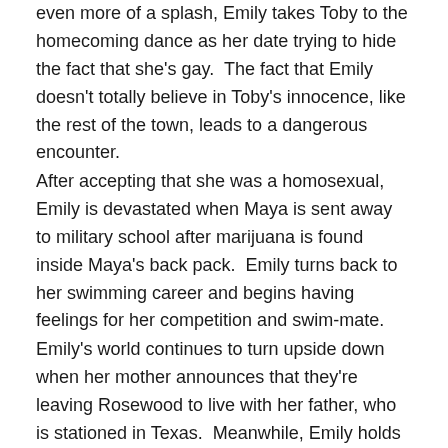even more of a splash, Emily takes Toby to the homecoming dance as her date trying to hide the fact that she's gay.  The fact that Emily doesn't totally believe in Toby's innocence, like the rest of the town, leads to a dangerous encounter.
After accepting that she was a homosexual, Emily is devastated when Maya is sent away to military school after marijuana is found inside Maya's back pack.  Emily turns back to her swimming career and begins having feelings for her competition and swim-mate.
Emily's world continues to turn upside down when her mother announces that they're leaving Rosewood to live with her father, who is stationed in Texas.  Meanwhile, Emily holds the key to the photo evidence Spencer uncovered of Ian and Alison on her home computer, which conveniently gets erased when the realtor shows the